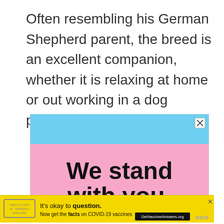Often resembling his German Shepherd parent, the breed is an excellent companion, whether it is relaxing at home or out working in a dog profession or sport.
[Figure (screenshot): Advertisement banner with transgender flag colors (blue and pink stripes) and bold text reading 'We stand with you.' with an X close button in the top right corner.]
[Figure (screenshot): Yellow advertisement banner reading 'It's okay to question. Now get the facts on COVID-19 vaccines GetVaccineAnswers.org' with a stamp graphic on the left and close button.]